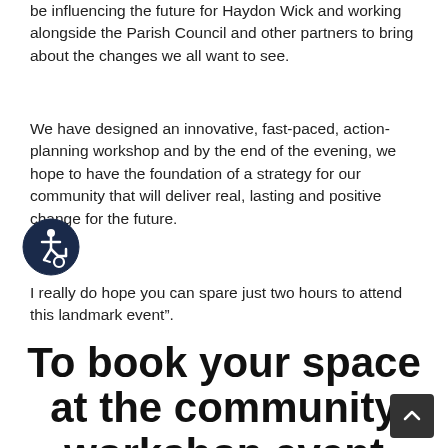be influencing the future for Haydon Wick and working alongside the Parish Council and other partners to bring about the changes we all want to see.
We have designed an innovative, fast-paced, action-planning workshop and by the end of the evening, we hope to have the foundation of a strategy for our community that will deliver real, lasting and positive change for the future.
[Figure (illustration): Circular accessibility icon — person in wheelchair silhouette inside a dark blue circle]
I really do hope you can spare just two hours to attend this landmark event”.
To book your space at the community workshop event